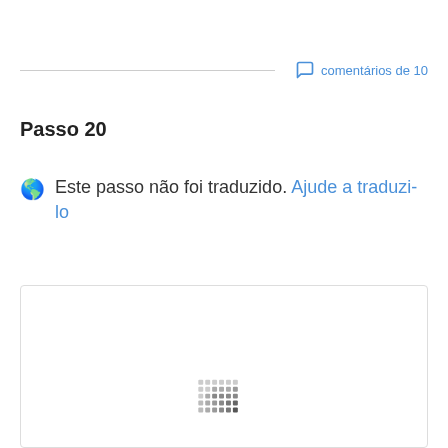comentários de 10
Passo 20
Este passo não foi traduzido. Ajude a traduzi-lo
[Figure (other): Loading placeholder box with dotted loading indicator in the center-bottom area]